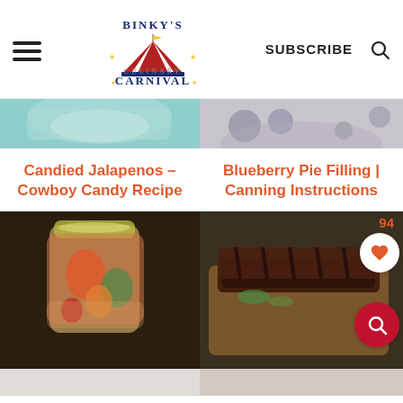Binky's Culinary Carnival — SUBSCRIBE
[Figure (photo): Partial top view of a jar with green and teal background — candied jalapenos photo crop]
[Figure (photo): Partial top view of a dark pie with blueberries — blueberry pie filling photo crop]
Candied Jalapenos – Cowboy Candy Recipe
Blueberry Pie Filling | Canning Instructions
[Figure (photo): Jar of pickled/candied jalapenos and peppers in brine, mason jar with gold lid, colorful peppers visible]
[Figure (photo): Sliced grilled steak on a wooden cutting board with fresh herbs, dark moody background]